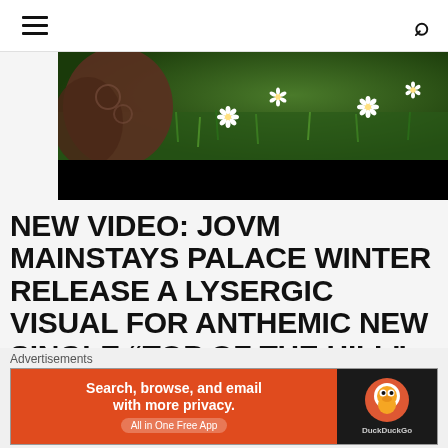Menu / Search
[Figure (photo): Close-up photo of a person lying on grass with white daisies in a field, partially cut off at top]
NEW VIDEO: JOVM MAINSTAYS PALACE WINTER RELEASE A LYSERGIC VISUAL FOR ANTHEMIC NEW SINGLE “TOP OF THE HILL”
I’ve written quite a bit about the Copenhagen, Denmark-based pop duo Palace Winter — Australian-born,
[Figure (screenshot): DuckDuckGo advertisement banner: orange left side with text 'Search, browse, and email with more privacy. All in One Free App', dark right side with DuckDuckGo logo]